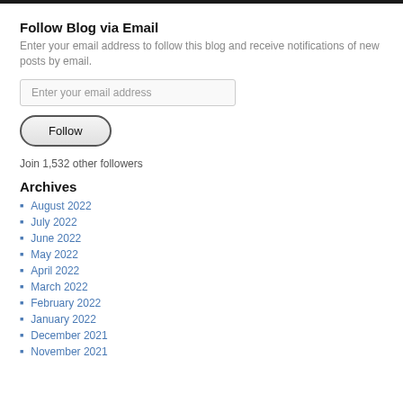Follow Blog via Email
Enter your email address to follow this blog and receive notifications of new posts by email.
Enter your email address
Follow
Join 1,532 other followers
Archives
August 2022
July 2022
June 2022
May 2022
April 2022
March 2022
February 2022
January 2022
December 2021
November 2021